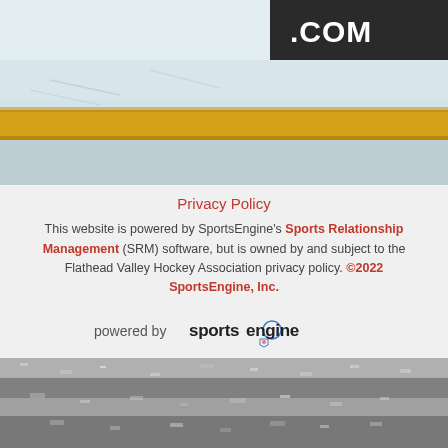[Figure (photo): Top portion of image showing a hockey rink ice surface with yellow boards and a sign partially visible reading '.COM']
Privacy Policy
This website is powered by SportsEngine's Sports Relationship Management (SRM) software, but is owned by and subject to the Flathead Valley Hockey Association privacy policy. ©2022 SportsEngine, Inc.
[Figure (logo): SportsEngine logo: 'powered by sportsengine' with shield icon]
[Figure (photo): Bottom portion showing scraped ice surface texture in grayscale]